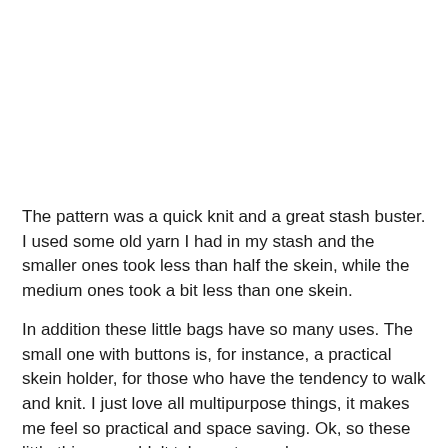The pattern was a quick knit and a great stash buster. I used some old yarn I had in my stash and the smaller ones took less than half the skein, while the medium ones took a bit less than one skein.
In addition these little bags have so many uses. The small one with buttons is, for instance, a practical skein holder, for those who have the tendency to walk and knit. I just love all multipurpose things, it makes me feel so practical and space saving. Ok, so these little things wouldn't take up to much space anyway, but in general, multipurpose is great for space saving. Not to mention environmentally friendly.